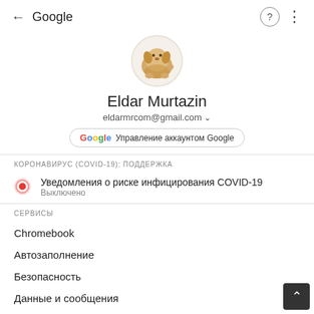← Google
[Figure (photo): Circular avatar with a small plush golden dog stuffed toy on white/light grey background]
Eldar Murtazin
eldarmrcom@gmail.com ▾
Управление аккаунтом Google
КОРОНАВИРУС (COVID-19): ПОДДЕРЖКА
Уведомления о риске инфицирования COVID-19
Выключено
СЕРВИСЫ
Chromebook
Автозаполнение
Безопасность
Данные и сообщения
Подключения устройства
mobile-review.com